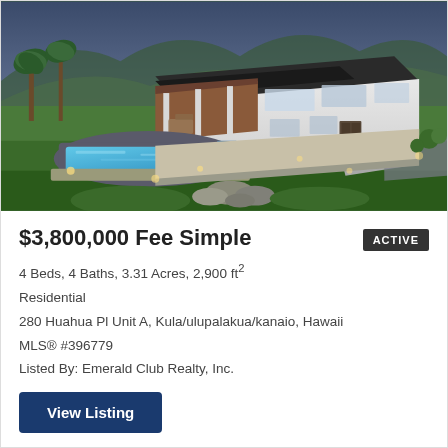[Figure (illustration): Aerial rendering of a modern luxury home with a pool, surrounded by lush green landscape with palm trees and mountains in the background, lit at dusk.]
$3,800,000 Fee Simple
ACTIVE
4 Beds, 4 Baths, 3.31 Acres, 2,900 ft²
Residential
280 Huahua Pl Unit A, Kula/ulupalakua/kanaio, Hawaii
MLS® #396779
Listed By: Emerald Club Realty, Inc.
View Listing